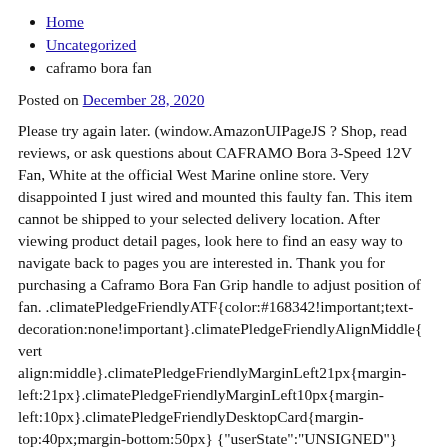Home
Uncategorized
caframo bora fan
Posted on December 28, 2020
Please try again later. (window.AmazonUIPageJS ? Shop, read reviews, or ask questions about CAFRAMO Bora 3-Speed 12V Fan, White at the official West Marine online store. Very disappointed I just wired and mounted this faulty fan. This item cannot be shipped to your selected delivery location. After viewing product detail pages, look here to find an easy way to navigate back to pages you are interested in. Thank you for purchasing a Caframo Bora Fan Grip handle to adjust position of fan. .climatePledgeFriendlyATF{color:#168342!important;text-decoration:none!important}.climatePledgeFriendlyAlignMiddle{vertical-align:middle}.climatePledgeFriendlyMarginLeft21px{margin-left:21px}.climatePledgeFriendlyMarginLeft10px{margin-left:10px}.climatePledgeFriendlyDesktopCard{margin-top:40px;margin-bottom:50px} {"userState":"UNSIGNED"} .buynow-education-pointer{display:block;position:relative;height:.5rem;margin:.5rem 0;border-bottom:1px solid #D8D8D8}.buynow-education-pointer .caret{display:block;position:absolute;bottom:0;height:1rem;width:1rem;border:1px solid #D8D8D8;border-width:1px 1px 0 0;transform:rotate(-45deg) translate(-.7rem);transform-